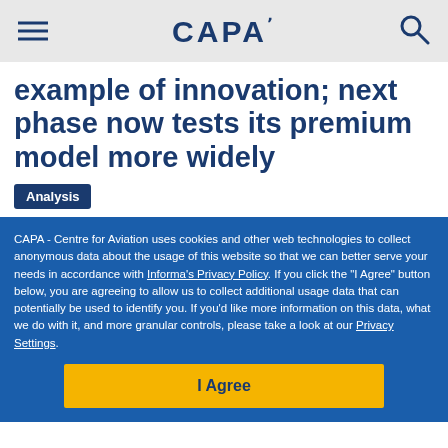CAPA
example of innovation; next phase now tests its premium model more widely
Analysis
CAPA - Centre for Aviation uses cookies and other web technologies to collect anonymous data about the usage of this website so that we can better serve your needs in accordance with Informa's Privacy Policy. If you click the "I Agree" button below, you are agreeing to allow us to collect additional usage data that can potentially be used to identify you. If you'd like more information on this data, what we do with it, and more granular controls, please take a look at our Privacy Settings.
I Agree